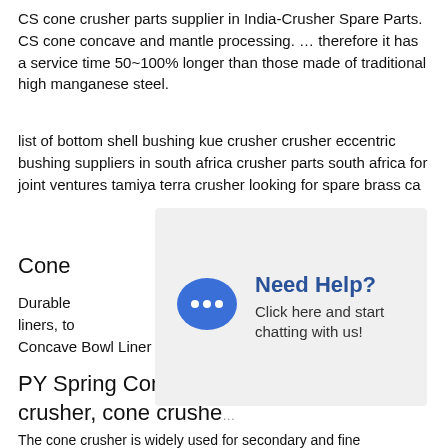CS cone crusher parts supplier in India-Crusher Spare Parts. CS cone concave and mantle processing. … therefore it has a service time 50~100% longer than those made of traditional high manganese steel.
list of bottom shell bushing kue crusher crusher eccentric bushing suppliers in south africa crusher parts south africa for joint ventures tamiya terra crusher looking for spare brass ca…
Cone
Durable… liners, to… Concave Bowl Liner Unicast Wear Parts.
[Figure (infographic): Chat widget overlay showing 'Need Help? Click here and start chatting with us!' with a blue speech bubble icon containing three dots.]
PY Spring Cone Crusher, cone crushe…
The cone crusher is widely used for secondary and fine…
[Figure (infographic): Live chat tooltip bubble saying 'Hey, we are live 24/7. How may I help you?' with a blue circular chat button on the right.]